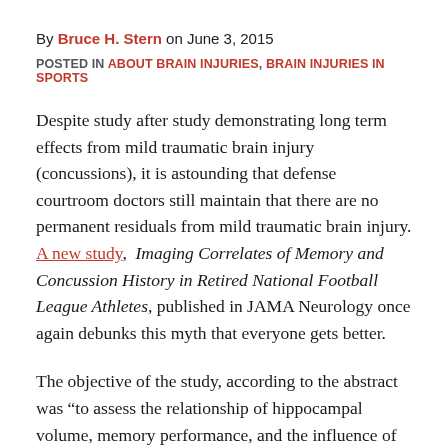By Bruce H. Stern on June 3, 2015
POSTED IN ABOUT BRAIN INJURIES, BRAIN INJURIES IN SPORTS
Despite study after study demonstrating long term effects from mild traumatic brain injury (concussions), it is astounding that defense courtroom doctors still maintain that there are no permanent residuals from mild traumatic brain injury. A new study, Imaging Correlates of Memory and Concussion History in Retired National Football League Athletes, published in JAMA Neurology once again debunks this myth that everyone gets better.
The objective of the study, according to the abstract was “to assess the relationship of hippocampal volume, memory performance, and the influence of